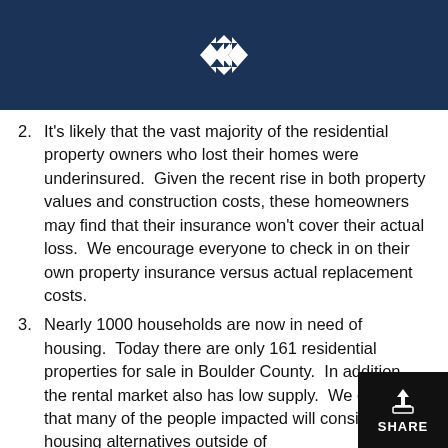[Figure (logo): Diamond-shaped logo with angular arrow/chevron design in white on dark navy background]
2. It's likely that the vast majority of the residential property owners who lost their homes were underinsured.  Given the recent rise in both property values and construction costs, these homeowners may find that their insurance won't cover their actual loss.  We encourage everyone to check in on their own property insurance versus actual replacement costs.
3. Nearly 1000 households are now in need of housing.  Today there are only 161 residential properties for sale in Boulder County.  In addition, the rental market also has low supply.  We expect that many of the people impacted will consider housing alternatives outside of